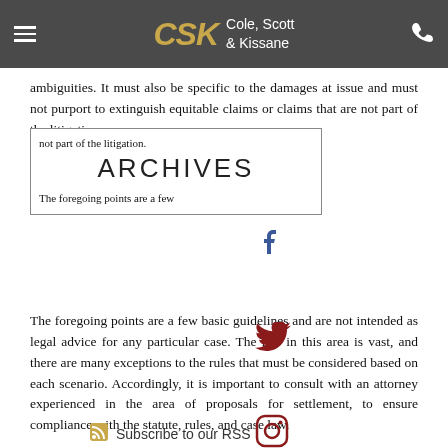CSK Cole, Scott & Kissane
ambiguities. It must also be specific to the damages at issue and must not purport to extinguish equitable claims or claims that are not part of the litigation.
ARCHIVES
The foregoing points are a few basic guidelines and are not intended as legal advice for any particular case. The law in this area is vast, and there are many exceptions to the rules that must be considered based on each scenario. Accordingly, it is important to consult with an attorney experienced in the area of proposals for settlement, to ensure compliance with the statute, rules, and case law.
Subscribe to our RSS